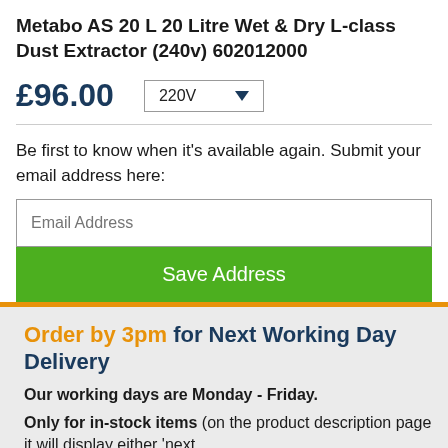Metabo AS 20 L 20 Litre Wet & Dry L-class Dust Extractor (240v) 602012000
£96.00   220V ▼
Be first to know when it's available again. Submit your email address here:
Email Address
Save Address
Order by 3pm for Next Working Day Delivery
Our working days are Monday - Friday.
Only for in-stock items (on the product description page it will display either 'next